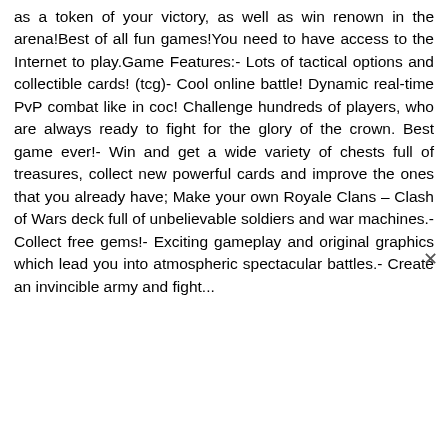as a token of your victory, as well as win renown in the arena!Best of all fun games!You need to have access to the Internet to play.Game Features:- Lots of tactical options and collectible cards! (tcg)- Cool online battle! Dynamic real-time PvP combat like in coc! Challenge hundreds of players, who are always ready to fight for the glory of the crown. Best game ever!- Win and get a wide variety of chests full of treasures, collect new powerful cards and improve the ones that you already have; Make your own Royale Clans – Clash of Wars deck full of unbelievable soldiers and war machines.- Collect free gems!- Exciting gameplay and original graphics which lead you into atmospheric spectacular battles.- Create an invincible army and fight...